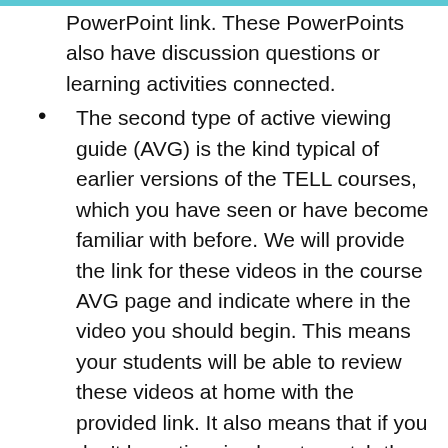PowerPoint link. These PowerPoints also have discussion questions or learning activities connected.
The second type of active viewing guide (AVG) is the kind typical of earlier versions of the TELL courses, which you have seen or have become familiar with before. We will provide the link for these videos in the course AVG page and indicate where in the video you should begin. This means your students will be able to review these videos at home with the provided link. It also means that if you don't have time in class to watch the video, you can assign it to them for homework.
Learning activities (LA): These are the activities